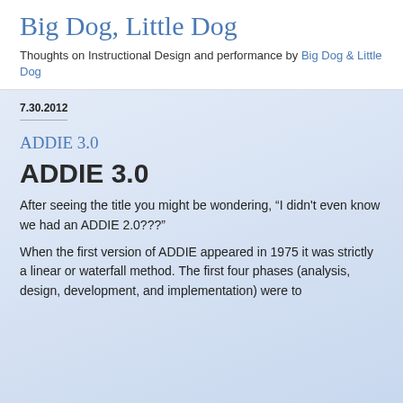Big Dog, Little Dog
Thoughts on Instructional Design and performance by Big Dog & Little Dog
7.30.2012
ADDIE 3.0
ADDIE 3.0
After seeing the title you might be wondering, “I didn't even know we had an ADDIE 2.0???”
When the first version of ADDIE appeared in 1975 it was strictly a linear or waterfall method. The first four phases (analysis, design, development, and implementation) were to